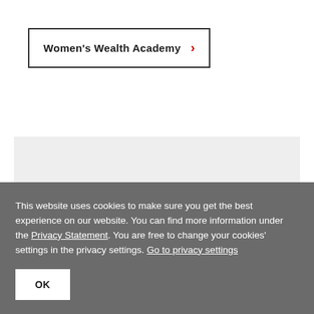Women's Wealth Academy
[Figure (other): Light gray placeholder/content bar]
This website uses cookies to make sure you get the best experience on our website. You can find more information under the Privacy Statement. You are free to change your cookies' settings in the privacy settings. Go to privacy settings
OK